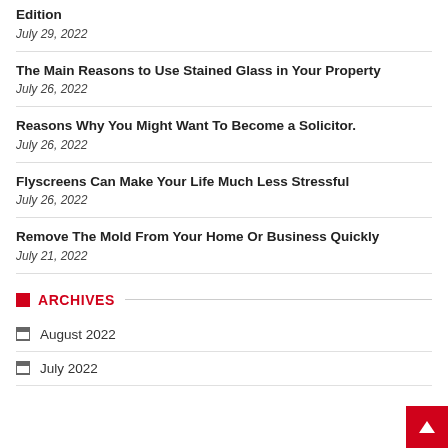Edition
July 29, 2022
The Main Reasons to Use Stained Glass in Your Property
July 26, 2022
Reasons Why You Might Want To Become a Solicitor.
July 26, 2022
Flyscreens Can Make Your Life Much Less Stressful
July 26, 2022
Remove The Mold From Your Home Or Business Quickly
July 21, 2022
ARCHIVES
August 2022
July 2022